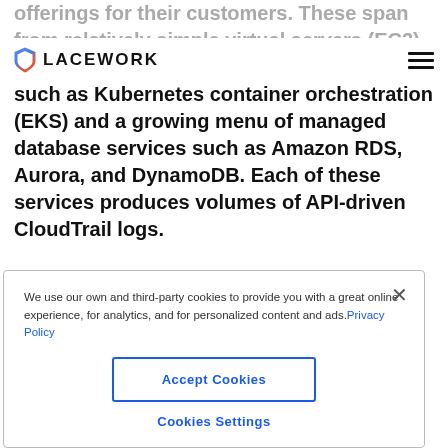Lacework logo and navigation
offerings for their customers. These span from relatively simple virtual servers (EC2) and storage (S3) to more complex platforms such as Kubernetes container orchestration (EKS) and a growing menu of managed database services such as Amazon RDS, Aurora, and DynamoDB. Each of these services produces volumes of API-driven CloudTrail logs.
We use our own and third-party cookies to provide you with a great online experience, for analytics, and for personalized content and ads. Privacy Policy
Accept Cookies
Cookies Settings